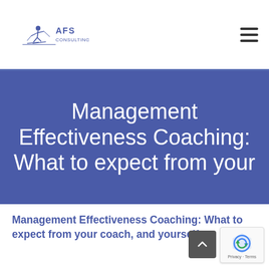AFS Consulting
Management Effectiveness Coaching: What to expect from your
Management Effectiveness Coaching: What to expect from your coach, and yourself.